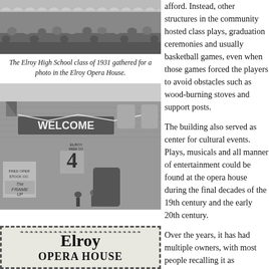[Figure (photo): Black and white photo of Elroy High School class of 1931 gathered in the Elroy Opera House, showing a crowd of people inside the building.]
The Elroy High School class of 1931 gathered for a photo in the Elroy Opera House.
[Figure (photo): Black and white photo of a brick building with a 'WELCOME' banner and a sign reading '4', with people standing outside. Storefront posters visible including 'The Frame Up'.]
afford. Instead, other structures in the community hosted class plays, graduation ceremonies and usually basketball games, even when those games forced the players to avoid obstacles such as wood-burning stoves and support posts.
The building also served as center for cultural events. Plays, musicals and all manner of entertainment could be found at the opera house during the final decades of the 19th century and the early 20th century.
Over the years, it has had multiple owners, with most people recalling it as Hamburg's Hardware, although more recently it was a fitness center owned by Tom Kotten.
Now reportedly owned
[Figure (photo): Sign or marquee for Elroy Opera House, showing decorative border with dots and bold text reading 'Elroy' and partially visible 'OPERA HOUSE' below.]